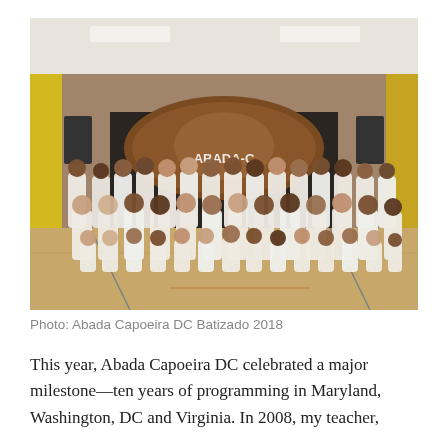[Figure (photo): Group photo of Abada Capoeira DC members including adults and children in white uniforms posing together in a gymnasium with a large ABADA Capoeira banner in the background.]
Photo: Abada Capoeira DC Batizado 2018
This year, Abada Capoeira DC celebrated a major milestone—ten years of programming in Maryland, Washington, DC and Virginia. In 2008, my teacher,